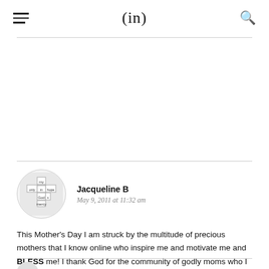(in)
[Figure (logo): Circular avatar image showing a cross made of keyboard keys with words: my, only, hope, is, in, God, s, mercy]
Jacqueline B
May 9, 2011 at 11:32 am
This Mother's Day I am struck by the multitude of precious mothers that I know online who inspire me and motivate me and BLESS me! I thank God for the community of godly moms who I am privileged to call friends. I am a better mom because of you.